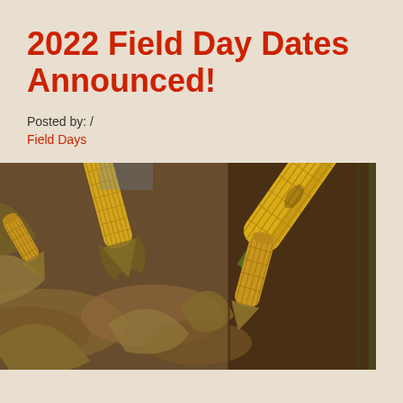2022 Field Day Dates Announced!
Posted by: /
Field Days
[Figure (photo): Close-up photograph of multiple yellow corn cobs on the stalk with dried husks and leaves, at harvest time. Two photos side by side showing corn cobs from different angles.]
Join us for the 31st Annual Prairie Hybrids Field Day!  This eve... development, grain marketing, and grain storage and condition...